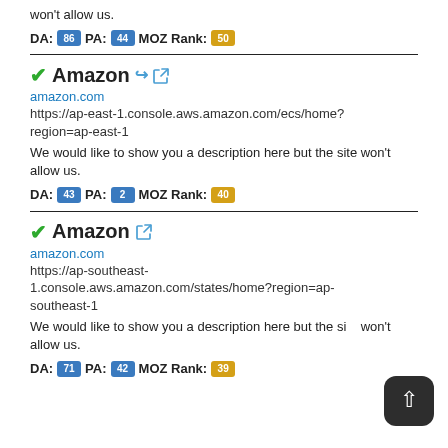won't allow us.
DA: 86 PA: 44 MOZ Rank: 50
✔Amazon 🔗
amazon.com
https://ap-east-1.console.aws.amazon.com/ecs/home?region=ap-east-1
We would like to show you a description here but the site won't allow us.
DA: 43 PA: 2 MOZ Rank: 40
✔Amazon 🔗
amazon.com
https://ap-southeast-1.console.aws.amazon.com/states/home?region=ap-southeast-1
We would like to show you a description here but the site won't allow us.
DA: 71 PA: 42 MOZ Rank: 39